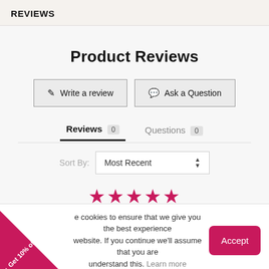REVIEWS
Product Reviews
✏ Write a review
💬 Ask a Question
Reviews 0   Questions 0
Sort By: Most Recent
[Figure (other): Five pink/magenta filled star rating icons]
e cookies to ensure that we give you the best experience website. If you continue we'll assume that you are understand this. Learn more
Accept
Get 10% off